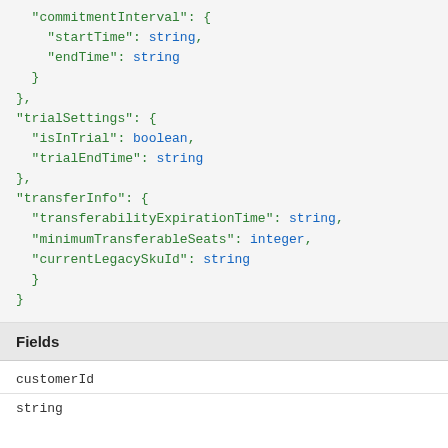"commitmentInterval": {
    "startTime": string,
    "endTime": string
  }
},
"trialSettings": {
  "isInTrial": boolean,
  "trialEndTime": string
},
"transferInfo": {
  "transferabilityExpirationTime": string,
  "minimumTransferableSeats": integer,
  "currentLegacySkuId": string
  }
}
Fields
customerId
string